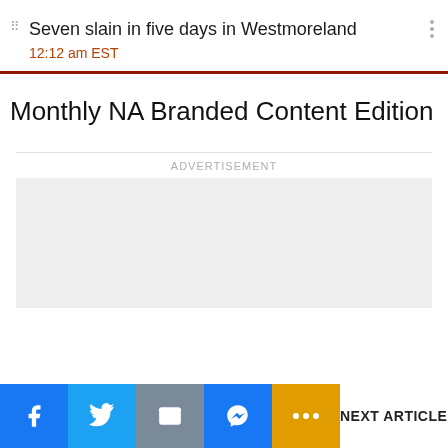Seven slain in five days in Westmoreland
12:12 am EST
Monthly NA Branded Content Edition
ADVERTISEMENT
[Figure (other): Empty grey advertisement placeholder box]
NEXT ARTICLE >